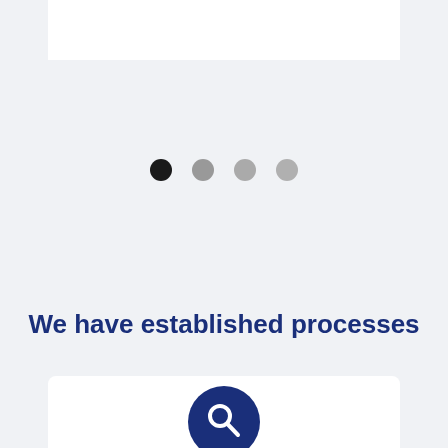[Figure (other): White bar at top of page, partial view of a slide or card]
[Figure (other): Four pagination dots in a row: first dot is black (active), remaining three are progressively lighter gray]
We have established processes
[Figure (other): White card at bottom with a dark navy blue circular search/magnifying glass icon centered at the top]